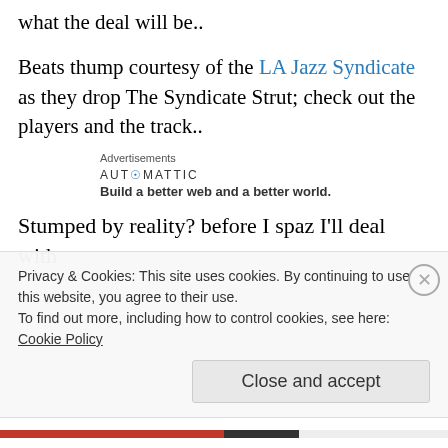what the deal will be..
Beats thump courtesy of the LA Jazz Syndicate as they drop The Syndicate Strut; check out the players and the track..
Advertisements
[Figure (logo): Automattic logo and tagline: Build a better web and a better world.]
Stumped by reality? before I spaz I'll deal with
Privacy & Cookies: This site uses cookies. By continuing to use this website, you agree to their use.
To find out more, including how to control cookies, see here:
Cookie Policy
Close and accept